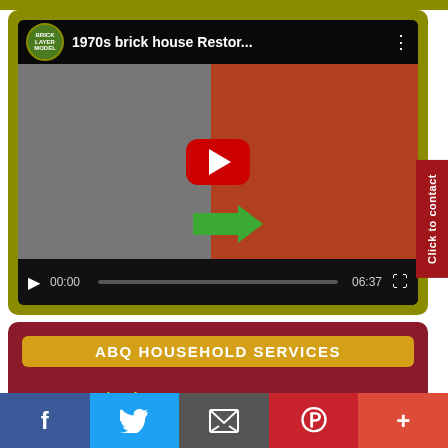[Figure (screenshot): Embedded YouTube video player showing '1970s brick house Restor...' with before/after brick house thumbnail, YouTube play button, and video controls showing 00:00 / 06:37]
Click to contact
ABQ HOUSEHOLD SERVICES
CONTACT: (505) 225 3810
SERVICES: Office Cleaning , House
[Figure (infographic): Social media sharing bar with Facebook, Twitter, Email, Pinterest, and More (+) buttons]